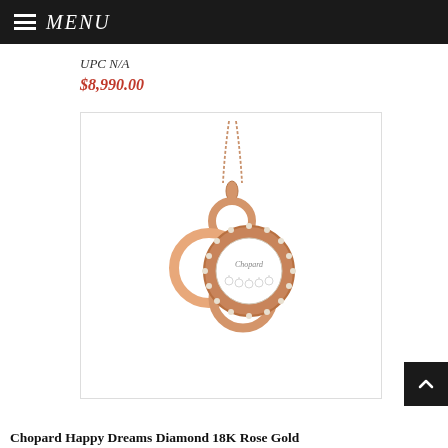MENU
UPC N/A
$8,990.00
[Figure (photo): Chopard Happy Dreams Diamond 18K Rose Gold necklace pendant featuring interlocking circles in rose gold, one circle adorned with diamonds and containing floating diamonds inside a clear crystal, hanging from a rose gold chain.]
Chopard Happy Dreams Diamond 18K Rose Gold